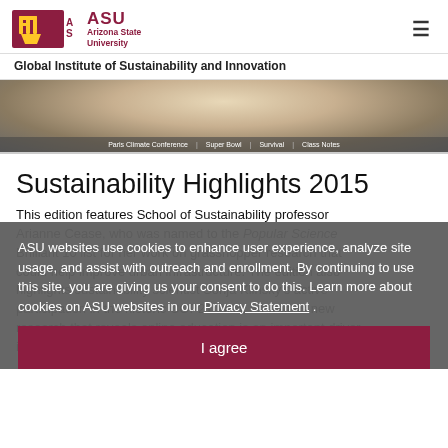ASU Arizona State University — Global Institute of Sustainability and Innovation
[Figure (screenshot): Hero image strip showing a person with navigation bar overlay: Paris Climate Conference | Super Bowl | Survival | Class Notes]
Sustainability Highlights 2015
This edition features School of Sustainability professor Arianne Cease, who was named to the Popular Science Brilliant 10 list for her work on grasshopper research that could help improve urban infrastructure. The edition also highlights sustainability scientist Sonja Klinsky's active participation in the historic COP21 talks, as well as new research that reveals online education is an important driver in sustainability solutions.
ASU websites use cookies to enhance user experience, analyze site usage, and assist with outreach and enrollment. By continuing to use this site, you are giving us your consent to do this. Learn more about cookies on ASU websites in our Privacy Statement .
I agree